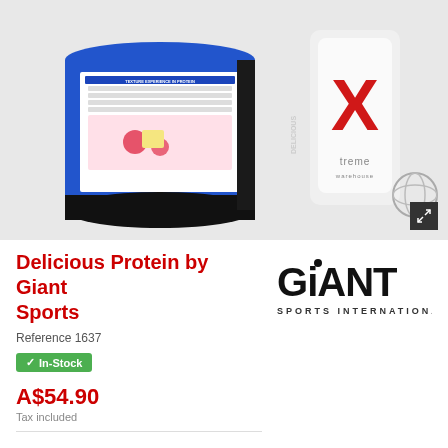[Figure (photo): Product photo showing Delicious Protein powder by Giant Sports (blue tub with raspberry white chocolate shake flavor) and an Xtreme Warehouse shaker bottle with metal whisk ball]
Delicious Protein by Giant Sports
Reference 1637
✓ In-Stock
A$54.90
Tax included
[Figure (logo): Giant Sports International logo — bold black text reading GIANT with 'SPORTS INTERNATIONAL' below in smaller spaced letters]